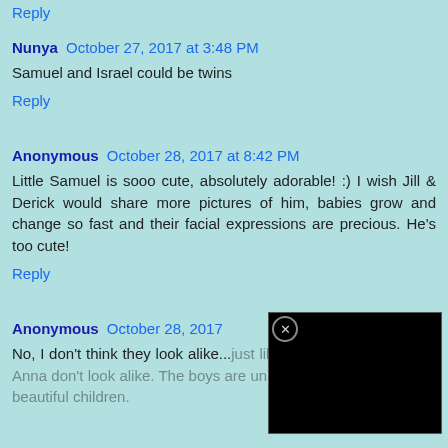Reply
Nunya  October 27, 2017 at 3:48 PM
Samuel and Israel could be twins
Reply
Anonymous  October 28, 2017 at 8:42 PM
Little Samuel is sooo cute, absolutely adorable! :) I wish Jill & Derick would share more pictures of him, babies grow and change so fast and their facial expressions are precious. He's too cute!
Reply
Anonymous  October 28, 2017
No, I don't think they look alike...just like Jill and Jessa and Joy Anna don't look alike. The boys are uniquely made and they are beautiful children.